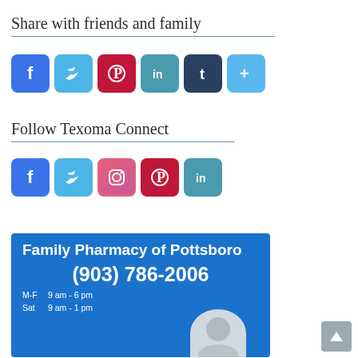Share with friends and family
[Figure (infographic): Social share buttons: Facebook (blue), Twitter (light blue), Pinterest (dark red), LinkedIn (teal), Tumblr (dark navy), More/Plus (light blue)]
Follow Texoma Connect
[Figure (infographic): Follow buttons: Facebook (blue), Twitter (light blue), Instagram (pink/red), Pinterest (red), LinkedIn (teal)]
[Figure (infographic): Advertisement banner for Family Pharmacy of Pottsboro, phone (903) 786-2006, hours M-F 9 am - 6 pm, Sat 9 am - 1 pm, blue background with pharmacist photo]